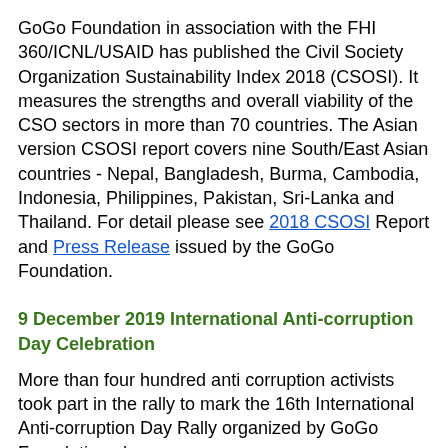GoGo Foundation in association with the FHI 360/ICNL/USAID has published the Civil Society Organization Sustainability Index 2018 (CSOSI). It measures the strengths and overall viability of the CSO sectors in more than 70 countries. The Asian version CSOSI report covers nine South/East Asian countries - Nepal, Bangladesh, Burma, Cambodia, Indonesia, Philippines, Pakistan, Sri-Lanka and Thailand. For detail please see 2018 CSOSI Report and Press Release issued by the GoGo Foundation.
9 December 2019 International Anti-corruption Day Celebration
More than four hundred anti corruption activists took part in the rally to mark the 16th International Anti-corruption Day Rally organized by GoGo Foundation along